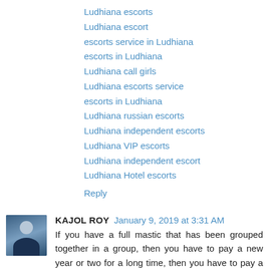Ludhiana escorts
Ludhiana escort
escorts service in Ludhiana
escorts in Ludhiana
Ludhiana call girls
Ludhiana escorts service
escorts in Ludhiana
Ludhiana russian escorts
Ludhiana independent escorts
Ludhiana VIP escorts
Ludhiana independent escort
Ludhiana Hotel escorts
Reply
KAJOL ROY  January 9, 2019 at 3:31 AM
If you have a full mastic that has been grouped together in a group, then you have to pay a new year or two for a long time, then you have to pay a lot for your money.
https://www.payalpandya.com
https://www.payalpandya.com/about.html
https://www.payalpandya.com/services.html